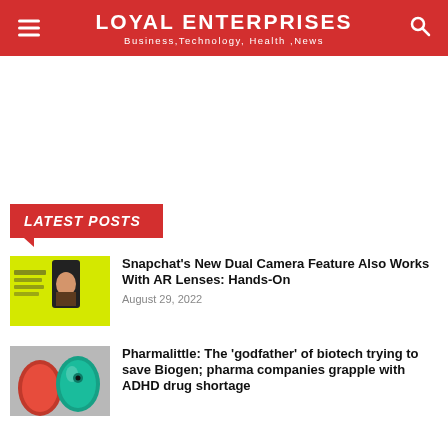LOYAL ENTERPRISES
Business,Technology, Health ,News
LATEST POSTS
[Figure (photo): Snapchat dual camera feature screenshot with yellow background and phone showing person's face]
Snapchat's New Dual Camera Feature Also Works With AR Lenses: Hands-On
August 29, 2022
[Figure (photo): Red and teal capsule/pill shaped objects representing pharmaceutical drugs]
Pharmalittle: The ‘godfather’ of biotech trying to save Biogen; pharma companies grapple with ADHD drug shortage